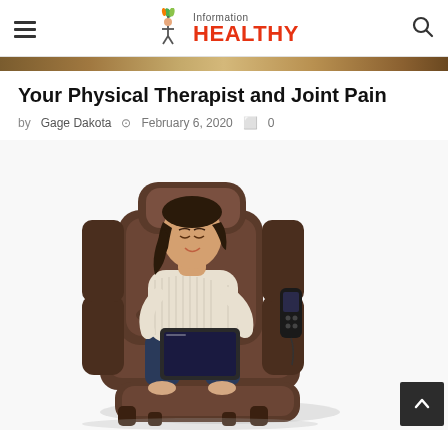Information Healthy
Your Physical Therapist and Joint Pain
by Gage Dakota  February 6, 2020  0
[Figure (photo): Woman sitting in a dark brown massage/physical therapy recliner chair, holding a tablet, with a remote control on the armrest]